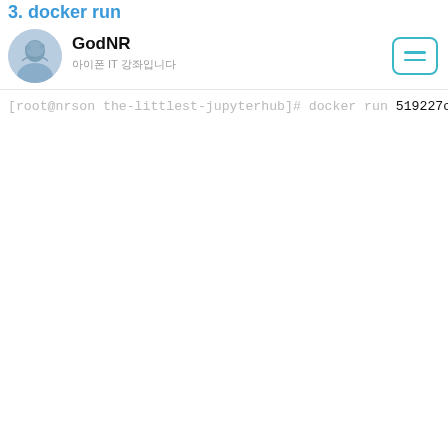3. docker run
GodNR
아이폰 IT 강좌입니다
[root@nrson the-littlest-jupyterhub]# docker run
519227c39170b2ea96dfda5cb227f6aeaa25a20b05ee3b50f8
[root@nrson the-littlest-jupyterhub]# docker image
REPOSITORY
tljh-systemd
ubuntu
192.168.56.107:13000/google-containers/kube-apiser
192.168.56.107:13000/google-containers/kube-contro
192.168.56.107:13000/google-containers/kube-proxy
192.168.56.107:13000/google-containers/kube-schedu
192.168.56.107:13000/google-containers/k8s-dns-nod
192.168.56.107:13000/coredns/coredns
192.168.56.107:13000/calico/node
192.168.56.107:13000/calico/cni
192.168.56.107:13000/calico/kube-controllers
192.168.56.107:13000/library/nginx
192.168.56.107:13000/google-containers/cluster-pro
192.168.56.107:13000/external_storage/local-volume
192.168.56.107:13000/google_containers/kubernetes-
192.168.56.107:13000/rancher/local-path-provisione